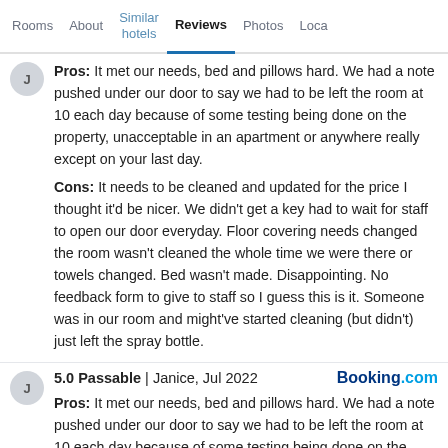Rooms | About | Similar hotels | Reviews | Photos | Loca
Pros: It met our needs, bed and pillows hard. We had a note pushed under our door to say we had to be left the room at 10 each day because of some testing being done on the property, unacceptable in an apartment or anywhere really except on your last day.
Cons: It needs to be cleaned and updated for the price I thought it'd be nicer. We didn't get a key had to wait for staff to open our door everyday. Floor covering needs changed the room wasn't cleaned the whole time we were there or towels changed. Bed wasn't made. Disappointing. No feedback form to give to staff so I guess this is it. Someone was in our room and might've started cleaning (but didn't) just left the spray bottle.
5.0 Passable | Janice, Jul 2022 — Booking.com
Pros: It met our needs, bed and pillows hard. We had a note pushed under our door to say we had to be left the room at 10 each day because of some testing being done on the property, unacceptable in an apartment or anywhere